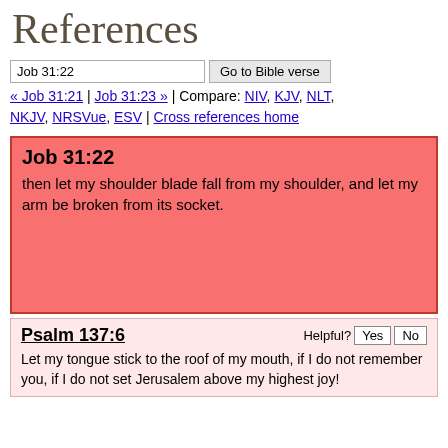References
Job 31:22 | Go to Bible verse
« Job 31:21 | Job 31:23 » | Compare: NIV, KJV, NLT, NKJV, NRSVue, ESV | Cross references home
Job 31:22
then let my shoulder blade fall from my shoulder, and let my arm be broken from its socket.
Psalm 137:6
Let my tongue stick to the roof of my mouth, if I do not remember you, if I do not set Jerusalem above my highest joy!